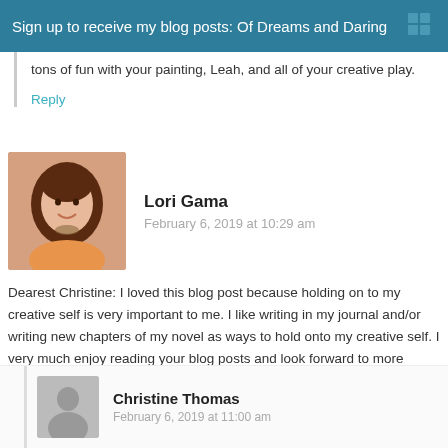Sign up to receive my blog posts: Of Dreams and Daring
tons of fun with your painting, Leah, and all of your creative play.
Reply
Lori Gama
February 6, 2019 at 10:29 am
Dearest Christine: I loved this blog post because holding on to my creative self is very important to me. I like writing in my journal and/or writing new chapters of my novel as ways to hold onto my creative self. I very much enjoy reading your blog posts and look forward to more arriving in my inbox. Thank you.
Reply
Christine Thomas
February 6, 2019 at 11:00 am